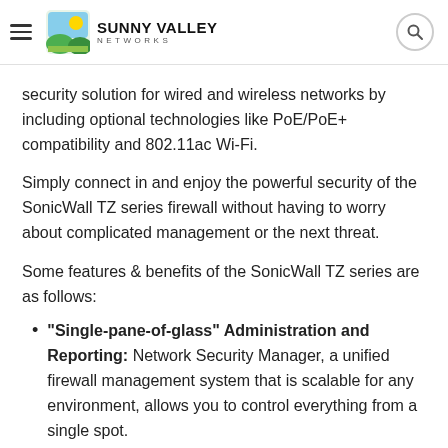Sunny Valley Networks
security solution for wired and wireless networks by including optional technologies like PoE/PoE+ compatibility and 802.11ac Wi-Fi.
Simply connect in and enjoy the powerful security of the SonicWall TZ series firewall without having to worry about complicated management or the next threat.
Some features & benefits of the SonicWall TZ series are as follows:
"Single-pane-of-glass" Administration and Reporting: Network Security Manager, a unified firewall management system that is scalable for any environment, allows you to control everything from a single spot.